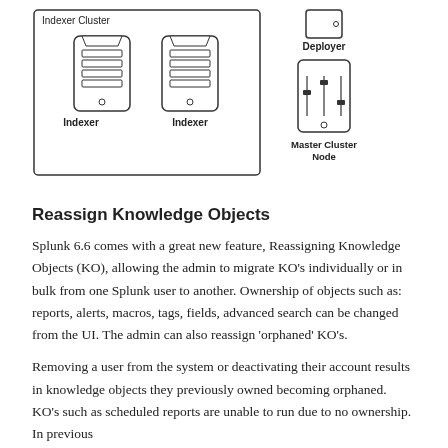[Figure (schematic): Diagram showing an Indexer Cluster with two Indexer server icons labeled 'Indexer', and separately a Deployer icon above a Master Cluster Node icon with sliders/controls.]
Reassign Knowledge Objects
Splunk 6.6 comes with a great new feature, Reassigning Knowledge Objects (KO), allowing the admin to migrate KO’s individually or in bulk from one Splunk user to another. Ownership of objects such as: reports, alerts, macros, tags, fields, advanced search can be changed from the UI. The admin can also reassign ‘orphaned’ KO’s.
Removing a user from the system or deactivating their account results in knowledge objects they previously owned becoming orphaned. KO’s such as scheduled reports are unable to run due to no ownership. In previous